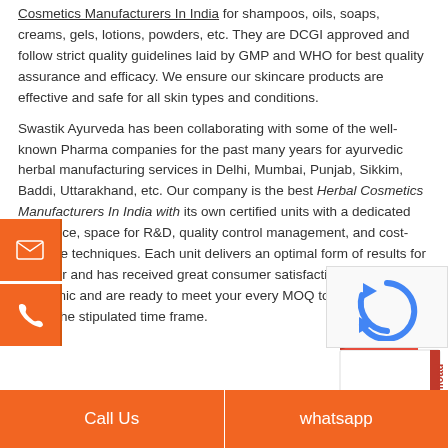Cosmetics Manufacturers In India for shampoos, oils, soaps, creams, gels, lotions, powders, etc. They are DCGI approved and follow strict quality guidelines laid by GMP and WHO for best quality assurance and efficacy. We ensure our skincare products are effective and safe for all skin types and conditions.
Swastik Ayurveda has been collaborating with some of the well-known Pharma companies for the past many years for ayurvedic herbal manufacturing services in Delhi, Mumbai, Punjab, Sikkim, Baddi, Uttarakhand, etc. Our company is the best Herbal Cosmetics Manufacturers In India with its own certified units with a dedicated workforce, space for R&D, quality control management, and cost-effective techniques. Each unit delivers an optimal form of results for the user and has received great consumer satisfaction. We're economic and are ready to meet your every MOQ to bulk orders within the stipulated time frame.
[Figure (illustration): Download Product List widget — a folded paper/book icon with red top and white body, text 'Download Product List' in red vertical orientation]
[Figure (illustration): Email/envelope icon on orange background, left sidebar]
[Figure (illustration): Phone icon on orange background, left sidebar]
[Figure (illustration): reCAPTCHA widget, bottom right]
Call Us
whatsapp